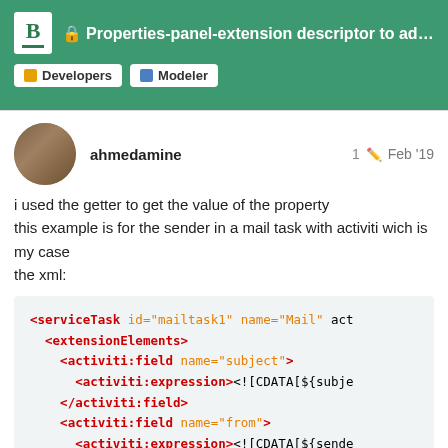Properties-panel-extension descriptor to add c... | Developers | Modeler
ahmedamine
1  Feb '19
i used the getter to get the value of the property
this example is for the sender in a mail task with activiti wich is my case
the xml:
[Figure (screenshot): XML code block showing serviceTask with extensionElements containing activiti:field elements for subject, from, and another field, with activiti:expression CDATA entries]